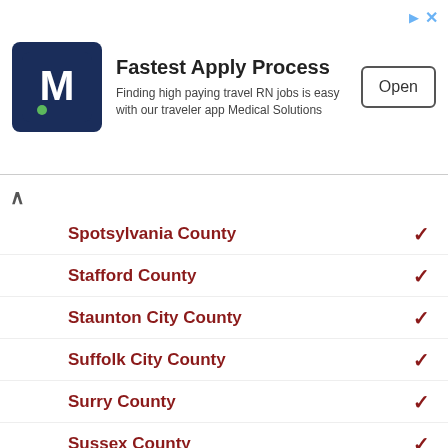[Figure (other): Advertisement banner for Medical Solutions travel nursing app with logo, text, and Open button]
Spotsylvania County
Stafford County
Staunton City County
Suffolk City County
Surry County
Sussex County
Tazewell County
Virginia Beach City County
Warren County
Washington County